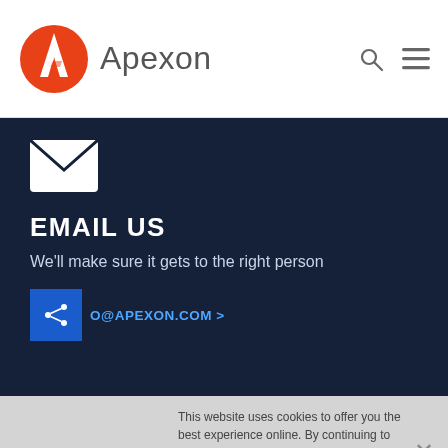Apexon
[Figure (logo): Apexon logo with orange circular icon and grey 'Apexon' wordmark]
[Figure (illustration): White envelope/mail icon on dark navy background]
EMAIL US
We'll make sure it gets to the right person
O@APEXON.COM >
This website uses cookies to offer you the best experience online. By continuing to use our website, you agree to the use of cookies. If you would like to know more about cookies and how to manage them please view our Privacy Policy & Cookies page.